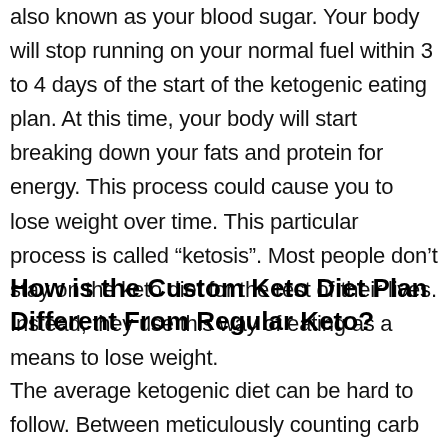also known as your blood sugar. Your body will stop running on your normal fuel within 3 to 4 days of the start of the ketogenic eating plan. At this time, your body will start breaking down your fats and protein for energy. This process could cause you to lose weight over time. This particular process is called “ketosis”. Most people don’t stay on the keto diet for the rest of their lives. Instead, they use this way of eating as a means to lose weight.
How is the Custom Keto Diet Plan Different From Regular Keto?
The average ketogenic diet can be hard to follow. Between meticulously counting carb intake and finding keto-friendly